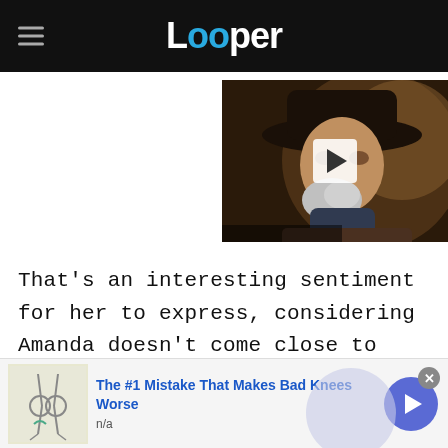Looper
[Figure (screenshot): Video thumbnail of a man wearing a black cowboy hat with a white goatee, with a play button overlay]
That's an interesting sentiment for her to express, considering Amanda doesn't come close to beating the game in the first film. She could be referring to Zoey instead of herself, but that'd be a bit of a
[Figure (other): Advertisement banner: 'The #1 Mistake That Makes Bad Knees Worse' with an illustration of legs/knees, source: n/a]